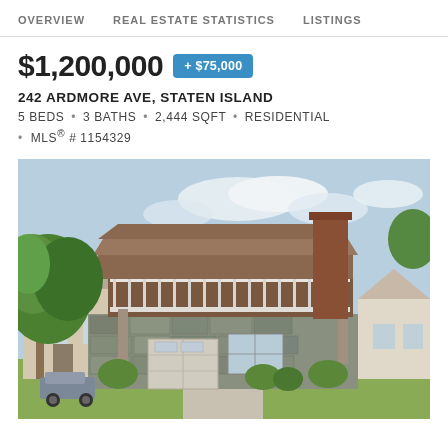OVERVIEW   REAL ESTATE STATISTICS   LISTINGS
$1,200,000  + $75,000
242 ARDMORE AVE, STATEN ISLAND
5 BEDS • 3 BATHS • 2,444 SQFT • RESIDENTIAL
• MLS® # 1154329
[Figure (photo): Exterior photo of a two-story residential home at 242 Ardmore Ave, Staten Island. The house features stone facade on the lower level, a wooden deck/balcony on the upper level with white railings, a tall brick chimney on the right side, an attached garage, green shrubs, and a concrete driveway. Neighboring houses visible on the left and right.]